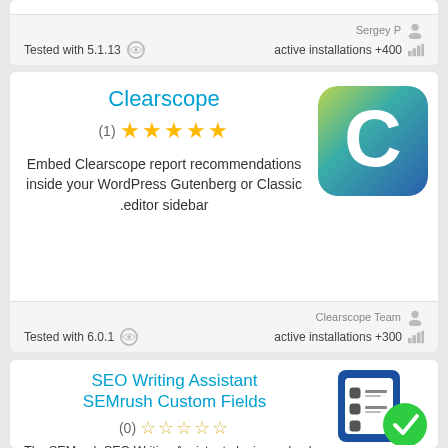Sergey P
Tested with 5.1.13   active installations +400
Clearscope
(1) ★★★★★
Embed Clearscope report recommendations inside your WordPress Gutenberg or Classic editor sidebar
[Figure (logo): Clearscope logo: rounded square with gradient from yellow-green to teal-blue with large white letter C]
Clearscope Team
Tested with 6.0.1   active installations +300
SEO Writing Assistant SEMrush Custom Fields
(0) ☆☆☆☆☆
The SEMrush SEO Writing Assistant plugin read only from post title and post content elements
[Figure (logo): SEMrush SEO Writing Assistant icon: blue document with form elements and green checkmark circle badge]